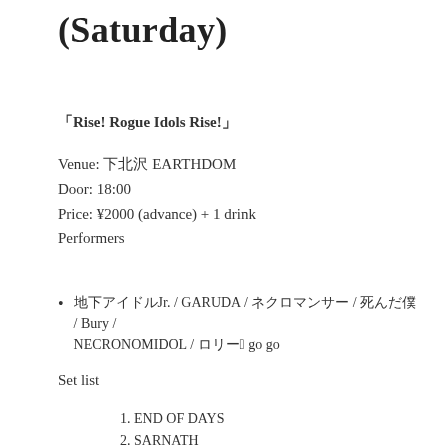(Saturday)
「Rise! Rogue Idols Rise!」
Venue: 下北沢 EARTHDOM
Door: 18:00
Price: ¥2000 (advance) + 1 drink
Performers
地下アイドルJr. / GARUDA / ネクロマンサー / 死んだ僕 / Bury / NECRONOMIDOL / ロリータa go go
Set list
1. END OF DAYS
2. SARNATH